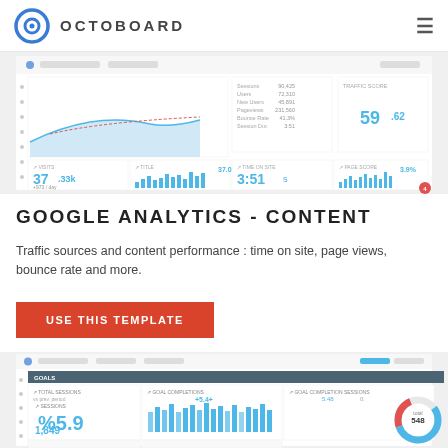OCTOBOARD
[Figure (screenshot): Octoboard dashboard screenshot showing Google Analytics metrics including 37.33k visits, 3:51s time on site, and bar charts]
GOOGLE ANALYTICS - CONTENT
Traffic sources and content performance : time on site, page views, bounce rate and more.
USE THIS TEMPLATE
[Figure (screenshot): Second Octoboard dashboard screenshot showing Goals section with metrics including %5.9, bar charts, and a donut chart with total 548]